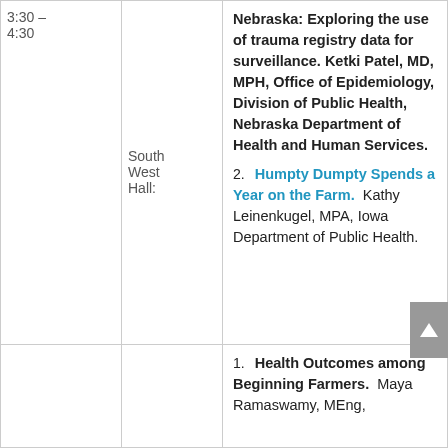| Time | Location | Content |
| --- | --- | --- |
| 3:30 – 4:30 | South West Hall: | Nebraska: Exploring the use of trauma registry data for surveillance. Ketki Patel, MD, MPH, Office of Epidemiology, Division of Public Health, Nebraska Department of Health and Human Services.
2. Humpty Dumpty Spends a Year on the Farm. Kathy Leinenkugel, MPA, Iowa Department of Public Health. |
|  |  | 1. Health Outcomes among Beginning Farmers. Maya Ramaswamy, MEng, |